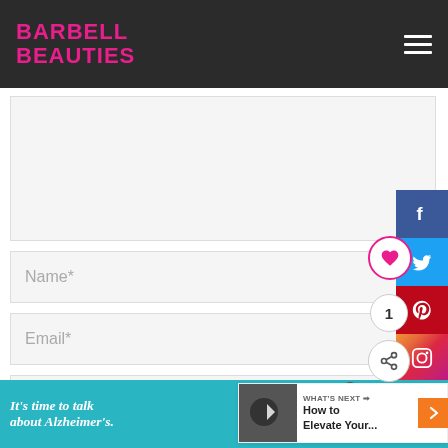BARBELL BEAUTIES
[Figure (screenshot): Website form with comment textarea, Name, Email, Website fields, social sharing sidebar with Facebook, Twitter, Pinterest, Instagram buttons, like and share circles, What's Next widget showing How to Elevate Your... article, and Alzheimer's ad banner at bottom]
Name*
Email*
Website
WHAT'S NEXT → How to Elevate Your...
It's time to talk about Alzheimer's.
LEARN MORE